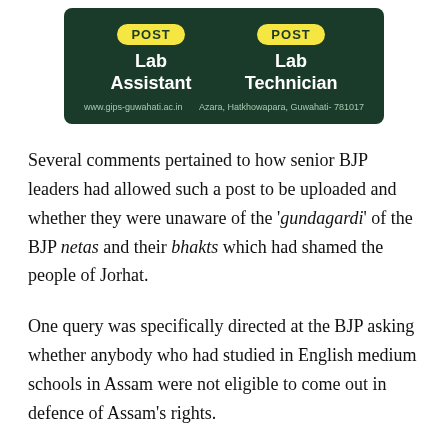[Figure (infographic): Dark green banner advertisement for GIPS Guwahati showing two job posts: Lab Assistant and Lab Technician, with POST badges in yellow. Footer shows website www.gips-guwahati.ac.in and address Azara, Hatkhowapara, Guwahati- 781017.]
Several comments pertained to how senior BJP leaders had allowed such a post to be uploaded and whether they were unaware of the 'gundagardi' of the BJP netas and their bhakts which had shamed the people of Jorhat.
One query was specifically directed at the BJP asking whether anybody who had studied in English medium schools in Assam were not eligible to come out in defence of Assam's rights.